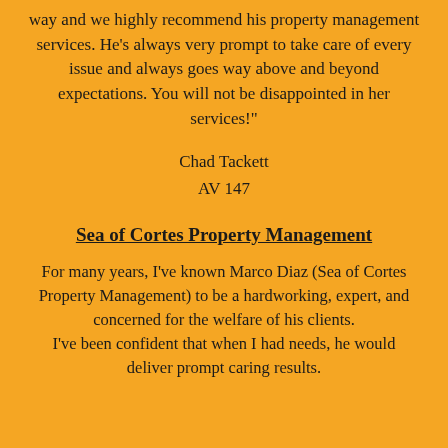way and we highly recommend his property management services. He’s always very prompt to take care of every issue and always goes way above and beyond expectations. You will not be disappointed in her services!”
Chad Tackett
AV 147
Sea of Cortes Property Management
For many years, I've known Marco Diaz (Sea of Cortes Property Management) to be a hardworking, expert, and concerned for the welfare of his clients.
I've been confident that when I had needs, he would deliver prompt caring results.